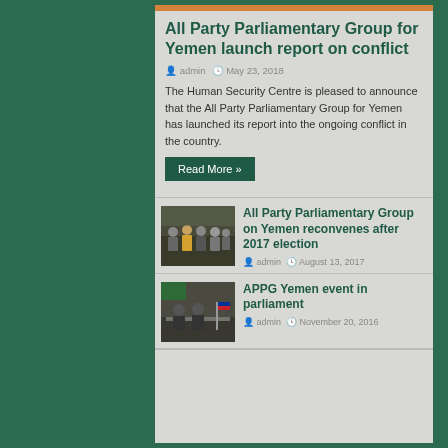All Party Parliamentary Group for Yemen launch report on conflict
admin  May 23, 2018
The Human Security Centre is pleased to announce that the All Party Parliamentary Group for Yemen has launched its report into the ongoing conflict in the country.
Read More »
[Figure (photo): Group photo of people standing in a meeting room]
All Party Parliamentary Group on Yemen reconvenes after 2017 election
admin  August 13, 2017
[Figure (photo): Photo of people seated at a table in a parliamentary setting with a flag visible]
APPG Yemen event in parliament
admin  November 20, 2016